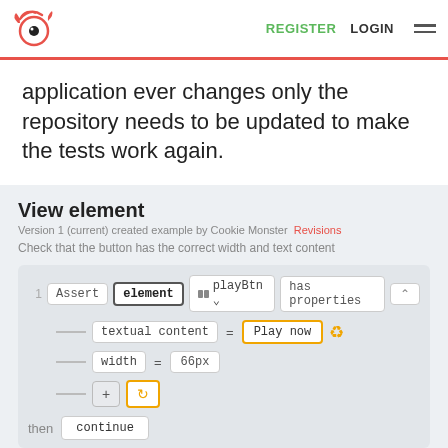REGISTER LOGIN
application ever changes only the repository needs to be updated to make the tests work again.
View element
Version 1 (current) created example by Cookie Monster  Revisions
Check that the button has the correct width and text content
[Figure (screenshot): Code block showing: Assert element playBtn has properties | textual content = Play now (with yellow border) | width = 66px | + reload buttons | then continue]
+ Add line ...